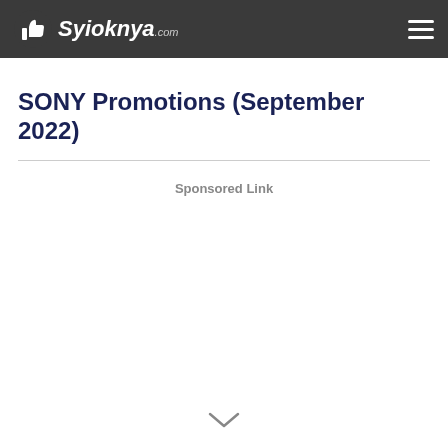Syioknya.com
SONY Promotions (September 2022)
Sponsored Link